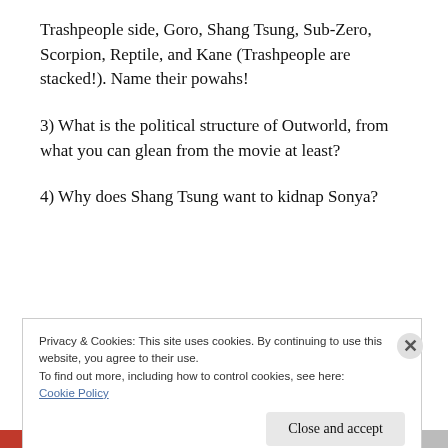Trashpeople side, Goro, Shang Tsung, Sub-Zero, Scorpion, Reptile, and Kane (Trashpeople are stacked!). Name their powahs!
3) What is the political structure of Outworld, from what you can glean from the movie at least?
4) Why does Shang Tsung want to kidnap Sonya?
Privacy & Cookies: This site uses cookies. By continuing to use this website, you agree to their use.
To find out more, including how to control cookies, see here: Cookie Policy